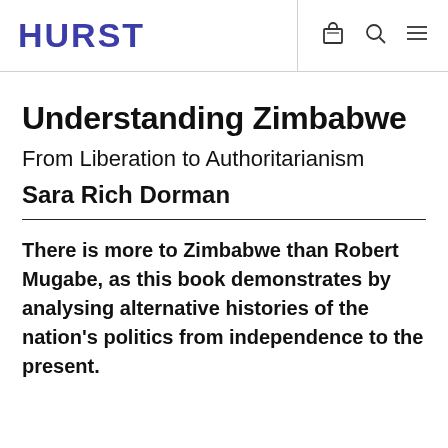HURST
Understanding Zimbabwe
From Liberation to Authoritarianism
Sara Rich Dorman
There is more to Zimbabwe than Robert Mugabe, as this book demonstrates by analysing alternative histories of the nation's politics from independence to the present.